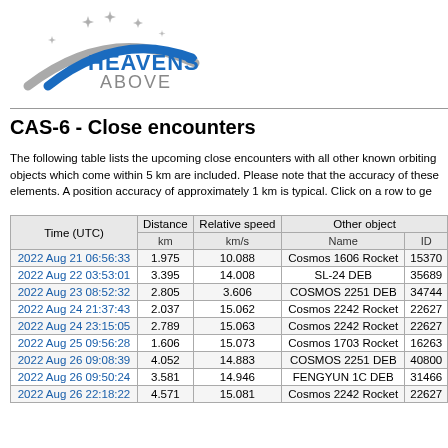[Figure (logo): Heavens Above logo with arc and stars]
CAS-6 - Close encounters
The following table lists the upcoming close encounters with all other known orbiting objects which come within 5 km are included. Please note that the accuracy of these elements. A position accuracy of approximately 1 km is typical. Click on a row to ge
| Time (UTC) | Distance km | Relative speed km/s | Name | ID |
| --- | --- | --- | --- | --- |
| 2022 Aug 21 06:56:33 | 1.975 | 10.088 | Cosmos 1606 Rocket | 15370 |
| 2022 Aug 22 03:53:01 | 3.395 | 14.008 | SL-24 DEB | 35689 |
| 2022 Aug 23 08:52:32 | 2.805 | 3.606 | COSMOS 2251 DEB | 34744 |
| 2022 Aug 24 21:37:43 | 2.037 | 15.062 | Cosmos 2242 Rocket | 22627 |
| 2022 Aug 24 23:15:05 | 2.789 | 15.063 | Cosmos 2242 Rocket | 22627 |
| 2022 Aug 25 09:56:28 | 1.606 | 15.073 | Cosmos 1703 Rocket | 16263 |
| 2022 Aug 26 09:08:39 | 4.052 | 14.883 | COSMOS 2251 DEB | 40800 |
| 2022 Aug 26 09:50:24 | 3.581 | 14.946 | FENGYUN 1C DEB | 31466 |
| 2022 Aug 26 22:18:22 | 4.571 | 15.081 | Cosmos 2242 Rocket | 22627 |